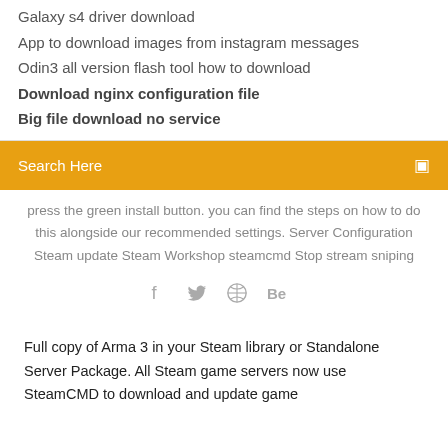Galaxy s4 driver download
App to download images from instagram messages
Odin3 all version flash tool how to download
Download nginx configuration file
Big file download no service
Search Here
press the green install button. you can find the steps on how to do this alongside our recommended settings. Server Configuration Steam update Steam Workshop steamcmd Stop stream sniping
[Figure (infographic): Social media icons: Facebook, Twitter, a circular icon, and Behance]
Full copy of Arma 3 in your Steam library or Standalone Server Package. All Steam game servers now use SteamCMD to download and update game